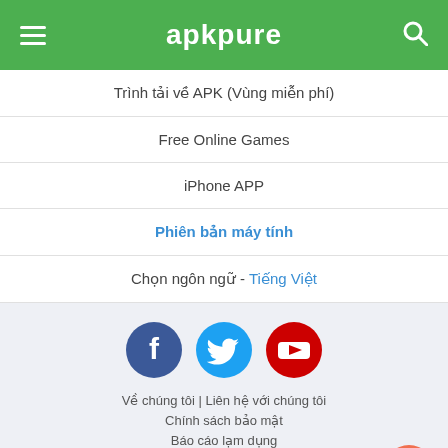apkpure
Trình tải về APK (Vùng miễn phí)
Free Online Games
iPhone APP
Phiên bản máy tính
Chọn ngôn ngữ - Tiếng Việt
[Figure (illustration): Social media icons: Facebook (dark blue circle with F), Twitter (cyan circle with bird), YouTube (red circle with play button)]
Về chúng tôi | Liên hệ với chúng tôi
Chính sách bảo mật
Báo cáo lạm dụng
Luật bảo vệ bản quyền tác giả
Submit APK